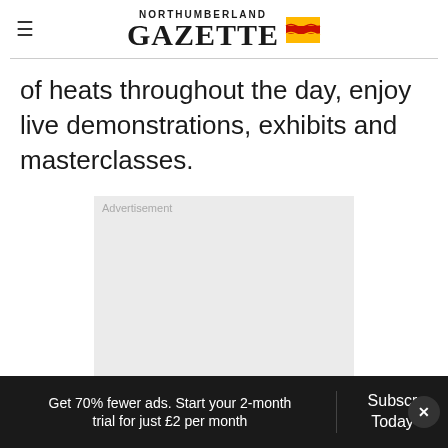NORTHUMBERLAND GAZETTE
of heats throughout the day, enjoy live demonstrations, exhibits and masterclasses.
[Figure (other): Advertisement placeholder box with light grey background]
Get 70% fewer ads. Start your 2-month trial for just £2 per month | Subscribe Today